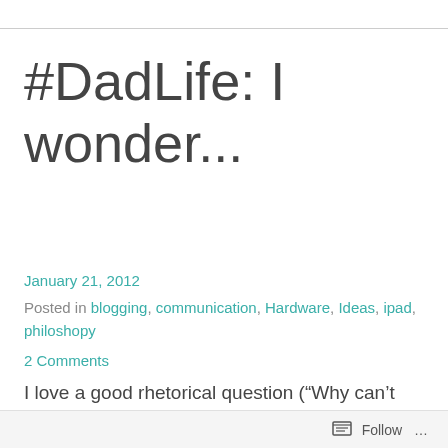#DadLife: I wonder...
January 21, 2012
Posted in blogging, communication, Hardware, Ideas, ipad, philoshopy
2 Comments
I love a good rhetorical question (“Why can’t every day be my birthday?” or “Is there no one who can save us from Super Villain X’s evil machinations?”).
Follow ...